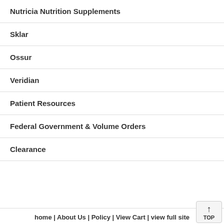Nutricia Nutrition Supplements
Sklar
Ossur
Veridian
Patient Resources
Federal Government & Volume Orders
Clearance
home | About Us | Policy | View Cart | view full site